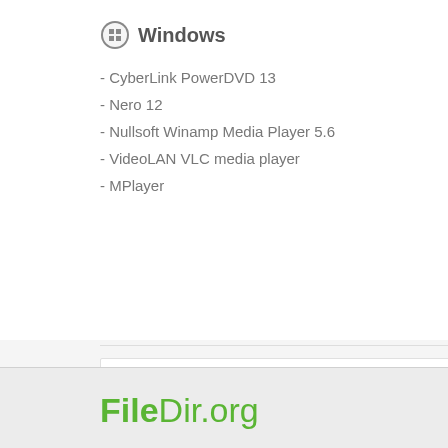Windows
- CyberLink PowerDVD 13
- Nero 12
- Nullsoft Winamp Media Player 5.6
- VideoLAN VLC media player
- MPlayer
Mac OS
- Roxio Popcorn
- Eltima Elmedia P
- MPlayer
- VideoLAN VLC m
Useful advice
Sometimes it can be so that you have a proper program installed on your c... in registry. Thanks to this, Windows will associate the file with proper applic... concerning improper launch of application.
FileDir.org